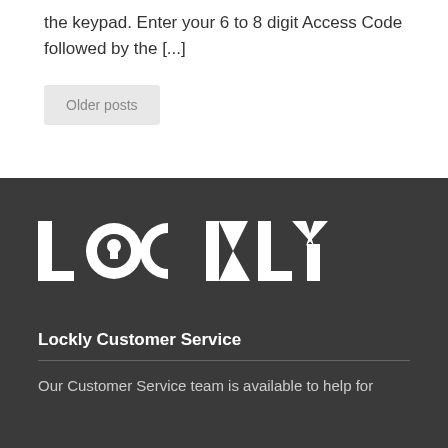the keypad. Enter your 6 to 8 digit Access Code followed by the [...]
Older posts
[Figure (logo): Lockly brand logo in white on dark background]
Lockly Customer Service
Our Customer Service team is available to help for